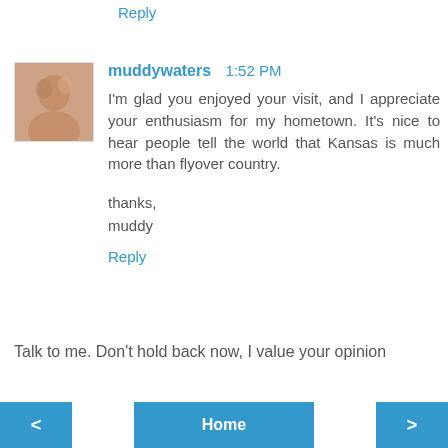Reply
[Figure (photo): Small avatar thumbnail showing a person, used as a commenter profile picture]
muddywaters  1:52 PM
I'm glad you enjoyed your visit, and I appreciate your enthusiasm for my hometown. It's nice to hear people tell the world that Kansas is much more than flyover country.

thanks,
muddy
Reply
Talk to me. Don't hold back now, I value your opinion
< Home >